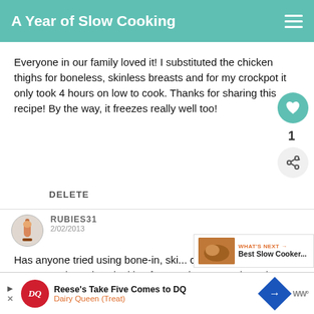A Year of Slow Cooking
Everyone in our family loved it! I substituted the chicken thighs for boneless, skinless breasts and for my crockpot it only took 4 hours on low to cook. Thanks for sharing this recipe! By the way, it freezes really well too!
DELETE
1
RUBIES31
2/02/2013
Has anyone tried using bone-in, ski... chicken thighs? They were on sale and I'm looking for a recipe to use them :)
[Figure (other): WHAT'S NEXT banner with food image and text 'Best Slow Cooker...']
[Figure (other): Advertisement banner: Reese's Take Five Comes to DQ - Dairy Queen (Treat)]